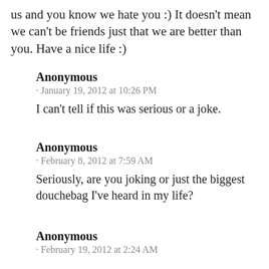us and you know we hate you :) It doesn't mean we can't be friends just that we are better than you. Have a nice life :)
Anonymous
· January 19, 2012 at 10:26 PM
I can't tell if this was serious or a joke.
Anonymous
· February 8, 2012 at 7:59 AM
Seriously, are you joking or just the biggest douchebag I've heard in my life?
Anonymous
· February 19, 2012 at 2:24 AM